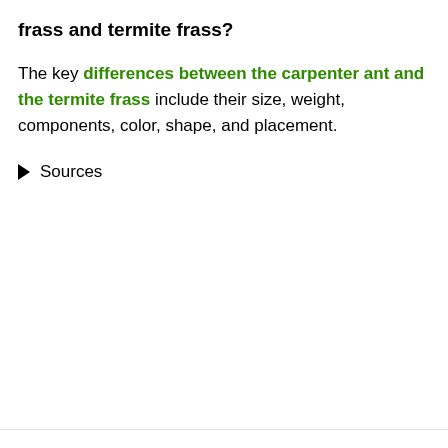frass and termite frass?
The key differences between the carpenter ant and the termite frass include their size, weight, components, color, shape, and placement.
▶ Sources